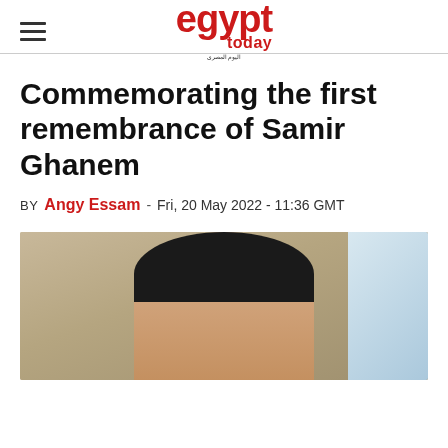egypt today
Commemorating the first remembrance of Samir Ghanem
BY Angy Essam - Fri, 20 May 2022 - 11:36 GMT
[Figure (photo): Portrait photo of Samir Ghanem, a man with dark hair, light background with floral elements and blue sky visible on the right.]